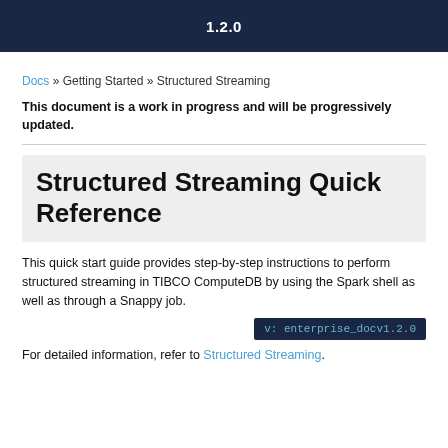1.2.0
Docs » Getting Started » Structured Streaming
This document is a work in progress and will be progressively updated.
Structured Streaming Quick Reference
This quick start guide provides step-by-step instructions to perform structured streaming in TIBCO ComputeDB by using the Spark shell as well as through a Snappy job.
v: enterprise_docv1.2.0
For detailed information, refer to Structured Streaming.